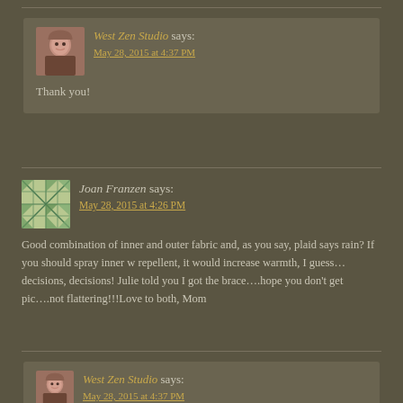[Figure (photo): Avatar photo of a woman with short brown hair]
West Zen Studio says:
May 28, 2015 at 4:37 PM
Thank you!
[Figure (illustration): Quilt pattern avatar in green and white]
Joan Franzen says:
May 28, 2015 at 4:26 PM
Good combination of inner and outer fabric and, as you say, plaid says rain? If you should spray inner w repellent, it would increase warmth, I guess… decisions, decisions! Julie told you I got the brace….hope you don't get pic….not flattering!!!Love to both, Mom
[Figure (photo): Avatar photo of a woman with short brown hair]
West Zen Studio says:
May 28, 2015 at 4:37 PM